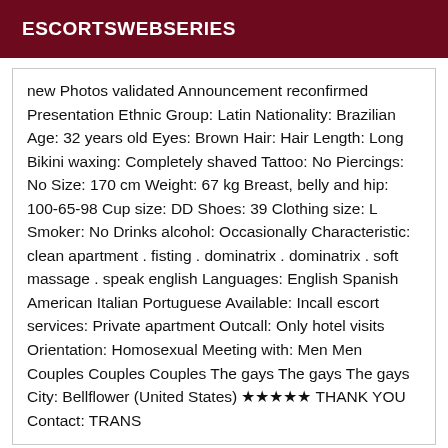ESCORTSWEBSERIES
new Photos validated Announcement reconfirmed Presentation Ethnic Group: Latin Nationality: Brazilian Age: 32 years old Eyes: Brown Hair: Hair Length: Long Bikini waxing: Completely shaved Tattoo: No Piercings: No Size: 170 cm Weight: 67 kg Breast, belly and hip: 100-65-98 Cup size: DD Shoes: 39 Clothing size: L Smoker: No Drinks alcohol: Occasionally Characteristic: clean apartment . fisting . dominatrix . dominatrix . soft massage . speak english Languages: English Spanish American Italian Portuguese Available: Incall escort services: Private apartment Outcall: Only hotel visits Orientation: Homosexual Meeting with: Men Men Couples Couples Couples The gays The gays The gays City: Bellflower (United States) ★★★★★ THANK YOU Contact: TRANS
[Figure (other): Verified badge button in dark red]